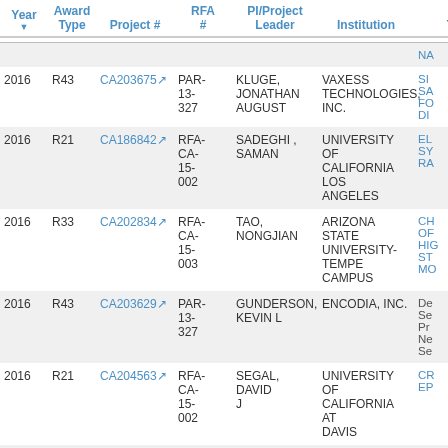| Year | Award Type | Project # | RFA # | PI/Project Leader | Institution | Ti |
| --- | --- | --- | --- | --- | --- | --- |
|  |  |  |  |  |  | NA |
| 2016 | R43 | CA203675 | PAR-13-327 | KLUGE, JONATHAN AUGUST | VAXESS TECHNOLOGIES, INC. | SI SA FO DI |
| 2016 | R21 | CA186842 | RFA-CA-15-002 | SADEGHI , SAMAN | UNIVERSITY OF CALIFORNIA LOS ANGELES | EL SY RA |
| 2016 | R33 | CA202834 | RFA-CA-15-003 | TAO, NONGJIAN | ARIZONA STATE UNIVERSITY-TEMPE CAMPUS | CH OF HIG ST MO |
| 2016 | R43 | CA203629 | PAR-13-327 | GUNDERSON, KEVIN L | ENCODIA, INC. | De Se Pr Ne Se |
| 2016 | R21 | CA204563 | RFA-CA-15-002 | SEGAL, DAVID J | UNIVERSITY OF CALIFORNIA AT DAVIS | CR EP |
| 2016 | R33 | CA202064 | RFA-CA-15- | WEISSLEDER, RALPH | MASSACHUSETTS GENERAL | AN CA |